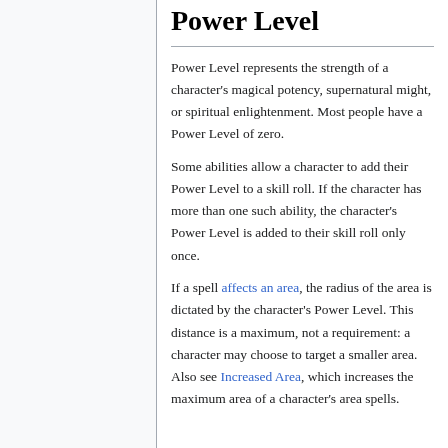Power Level
Power Level represents the strength of a character's magical potency, supernatural might, or spiritual enlightenment. Most people have a Power Level of zero.
Some abilities allow a character to add their Power Level to a skill roll. If the character has more than one such ability, the character's Power Level is added to their skill roll only once.
If a spell affects an area, the radius of the area is dictated by the character's Power Level. This distance is a maximum, not a requirement: a character may choose to target a smaller area. Also see Increased Area, which increases the maximum area of a character's area spells.